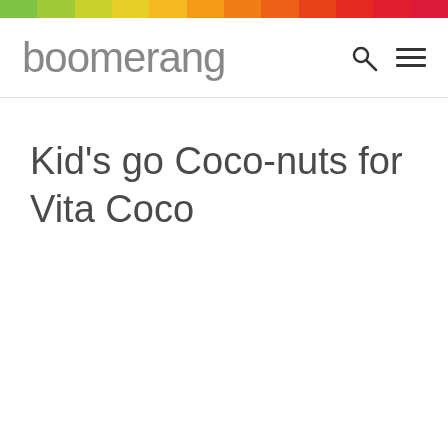[Figure (other): Rainbow gradient bar across the top of the page with colors transitioning from green, yellow, orange, red-orange, red, pink]
boomerang
Kid’s go Coco-nuts for Vita Coco